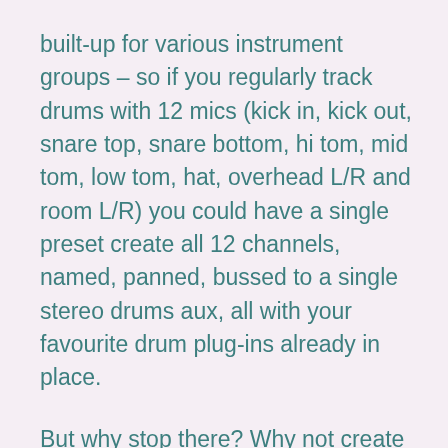built-up for various instrument groups – so if you regularly track drums with 12 mics (kick in, kick out, snare top, snare bottom, hi tom, mid tom, low tom, hat, overhead L/R and room L/R) you could have a single preset create all 12 channels, named, panned, bussed to a single stereo drums aux, all with your favourite drum plug-ins already in place.
But why stop there? Why not create different presets for all your most common drum mic-ing techniques, different sized kits, etc. Alternatively you can now create presets for virtual instruments – particularly those with multiple outputs, such as a drum sampler – adding not only the instrument